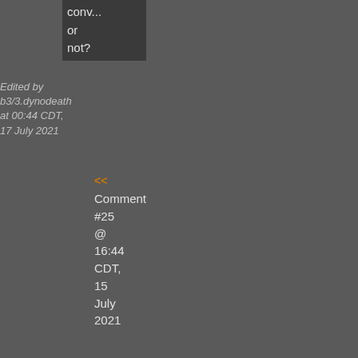conv... or not?
Edited by b3/3.dynodeath at 00:44 CDT, 17 July 2021
<< Comment #25 @ 16:44 CDT, 15 July 2021 >>
k, ly) By [flag] Bl - Re to #8 N so it' a ba lo or